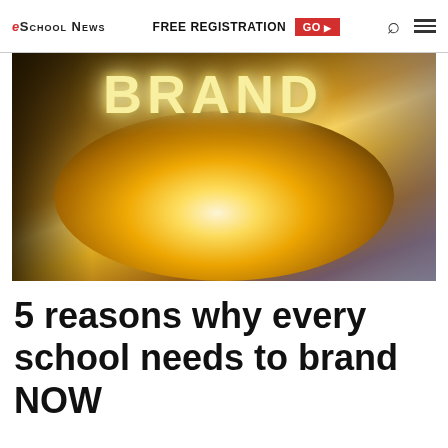eSchool News | FREE REGISTRATION GO ▶ 🔍 ≡
[Figure (photo): A person holding a glowing light bulb in their hand with the word BRAND floating above it in golden glowing letters against a dark warm background.]
5 reasons why every school needs to brand NOW